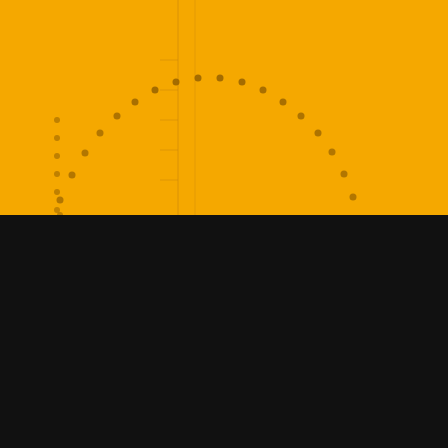[Figure (engineering-diagram): Yellow background with an engineering diagram showing a protractor/angle gauge with dotted arc and vertical measurement lines, rendered in dark amber/brown on yellow background.]
Mobile Calibrations
Offering a whilst-you-wait service at a location of your choice, we come to you either at your home or place of work. MCS calibrates 17th and 18th edition test equipment including